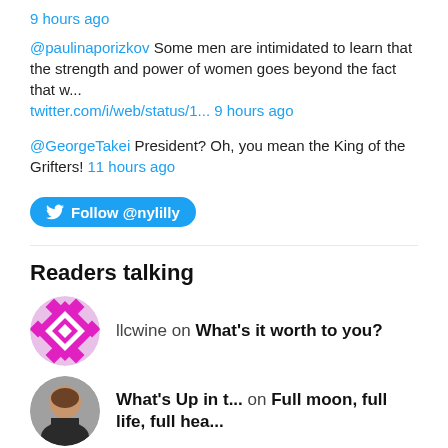9 hours ago
@paulinaporizkov Some men are intimidated to learn that the strength and power of women goes beyond the fact that w... twitter.com/i/web/status/1... 9 hours ago
@GeorgeTakei President? Oh, you mean the King of the Grifters! 11 hours ago
Follow @nylilly
Readers talking
llcwine on What's it worth to you?
What's Up in t... on Full moon, full life, full hea...
Dave on The early bird catches the...